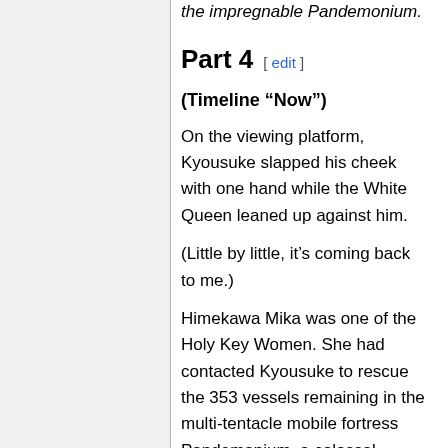the impregnable Pandemonium.
Part 4 [ edit ]
(Timeline “Now”)
On the viewing platform, Kyousuke slapped his cheek with one hand while the White Queen leaned up against him.
(Little by little, it’s coming back to me.)
Himekawa Mika was one of the Holy Key Women. She had contacted Kyousuke to rescue the 353 vessels remaining in the multi-tentacle mobile fortress Pandemonium, a colossal Repliglass structure. She was the current Alice. She was the unique vessel who could skip three stages in the Blood-Sign method to immediately summon a specific Divine-class into her body.
(In that case, was she a Holy Key